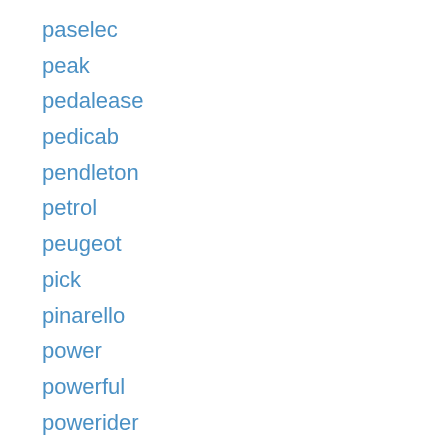paselec
peak
pedalease
pedicab
pendleton
petrol
peugeot
pick
pinarello
power
powerful
powerider
premium
price
problem